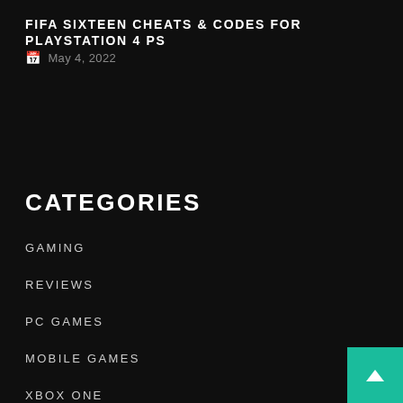FIFA SIXTEEN CHEATS & CODES FOR PLAYSTATION 4 PS
May 4, 2022
CATEGORIES
GAMING
REVIEWS
PC GAMES
MOBILE GAMES
XBOX ONE